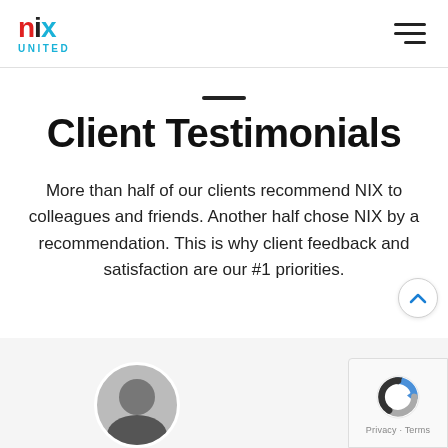nix UNITED
Client Testimonials
More than half of our clients recommend NIX to colleagues and friends. Another half chose NIX by a recommendation. This is why client feedback and satisfaction are our #1 priorities.
[Figure (logo): reCAPTCHA logo with Privacy and Terms text]